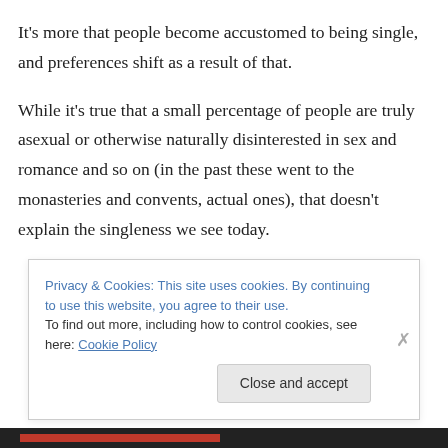It's more that people become accustomed to being single, and preferences shift as a result of that.
While it's true that a small percentage of people are truly asexual or otherwise naturally disinterested in sex and romance and so on (in the past these went to the monasteries and convents, actual ones), that doesn't explain the singleness we see today.
Privacy & Cookies: This site uses cookies. By continuing to use this website, you agree to their use.
To find out more, including how to control cookies, see here: Cookie Policy